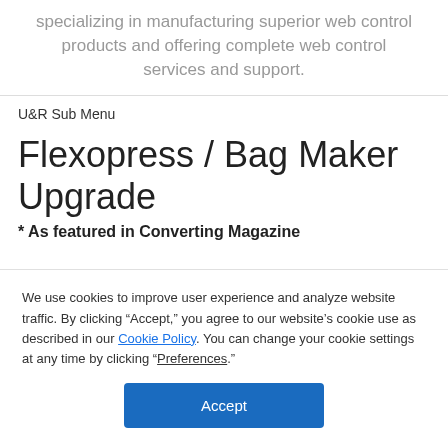specializing in manufacturing superior web control products and offering complete web control services and support.
U&R Sub Menu
Flexopress / Bag Maker Upgrade
* As featured in Converting Magazine
We use cookies to improve user experience and analyze website traffic. By clicking “Accept,” you agree to our website’s cookie use as described in our Cookie Policy. You can change your cookie settings at any time by clicking “Preferences.”
Accept